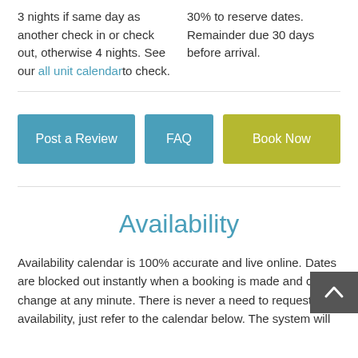3 nights if same day as another check in or check out, otherwise 4 nights. See our all unit calendar to check.
30% to reserve dates. Remainder due 30 days before arrival.
Post a Review
FAQ
Book Now
Availability
Availability calendar is 100% accurate and live online. Dates are blocked out instantly when a booking is made and can change at any minute. There is never a need to request availability, just refer to the calendar below. The system will